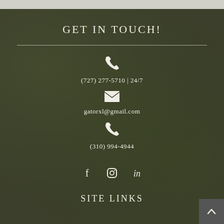GET IN TOUCH!
(727) 277-5710 | 24/7
gatorxl@gmail.com
(310) 994-4944
[Figure (other): Social media icons: Facebook, Instagram, LinkedIn]
SITE LINKS